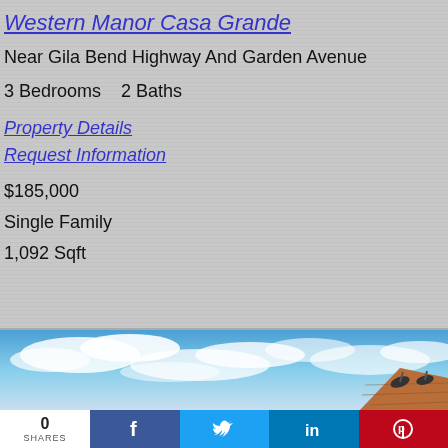Western Manor Casa Grande
Near Gila Bend Highway And Garden Avenue
3 Bedrooms   2 Baths
Property Details
Request Information
$185,000
Single Family
1,092 Sqft
[Figure (photo): Exterior photo showing blue sky with clouds and rooftop with satellite dishes]
0 SHARES (social share bar with Facebook, Twitter, LinkedIn, Pinterest buttons)